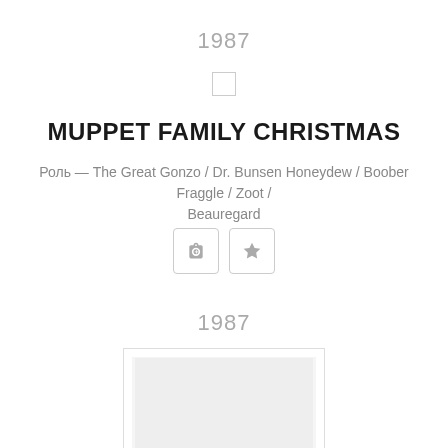1987
[Figure (other): Small empty placeholder box (checkbox-like outline)]
MUPPET FAMILY CHRISTMAS
Роль — The Great Gonzo / Dr. Bunsen Honeydew / Boober Fraggle / Zoot / Beauregard
[Figure (other): Two UI buttons: a camera/add-photo icon button and a star/favorite icon button]
1987
[Figure (other): Movie poster placeholder — a rectangular box with light grey background and white inner border]